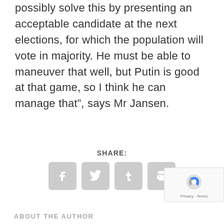possibly solve this by presenting an acceptable candidate at the next elections, for which the population will vote in majority. He must be able to maneuver that well, but Putin is good at that game, so I think he can manage that”, says Mr Jansen.
SHARE:
[Figure (infographic): Four social share icon buttons: Facebook (f), Twitter (bird), Tumblr (t), and Print (printer icon), each in a light gray rounded square.]
ABOUT THE AUTHOR